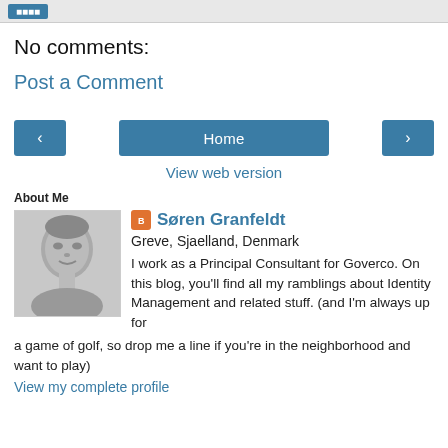No comments:
Post a Comment
‹  Home  ›
View web version
About Me
[Figure (photo): Profile photo of Søren Granfeldt, grayscale portrait]
Søren Granfeldt
Greve, Sjaelland, Denmark
I work as a Principal Consultant for Goverco. On this blog, you'll find all my ramblings about Identity Management and related stuff. (and I'm always up for a game of golf, so drop me a line if you're in the neighborhood and want to play)
View my complete profile